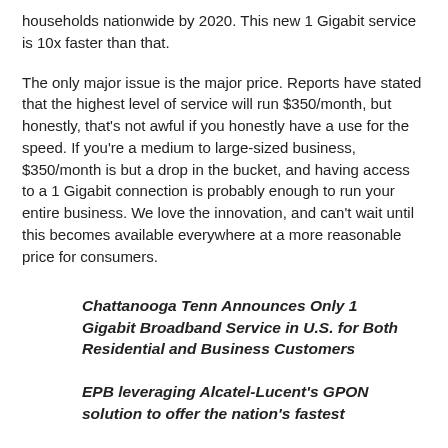households nationwide by 2020. This new 1 Gigabit service is 10x faster than that.
The only major issue is the major price. Reports have stated that the highest level of service will run $350/month, but honestly, that's not awful if you honestly have a use for the speed. If you're a medium to large-sized business, $350/month is but a drop in the bucket, and having access to a 1 Gigabit connection is probably enough to run your entire business. We love the innovation, and can't wait until this becomes available everywhere at a more reasonable price for consumers.
Chattanooga Tenn Announces Only 1 Gigabit Broadband Service in U.S. for Both Residential and Business Customers
EPB leveraging Alcatel-Lucent's GPON solution to offer the nation's fastest